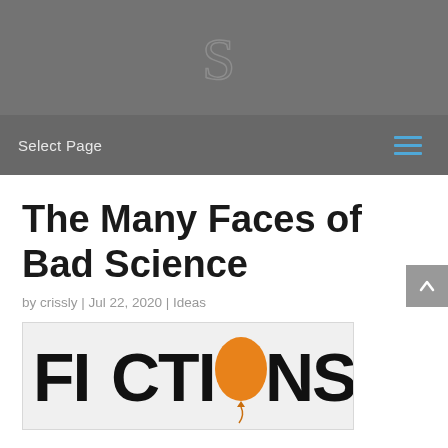S
Select Page
The Many Faces of Bad Science
by crissly | Jul 22, 2020 | Ideas
[Figure (illustration): Word 'FICTIONS' in large bold black letters with an orange balloon replacing the letter 'O', and the balloon string hanging below, on a light grey background.]